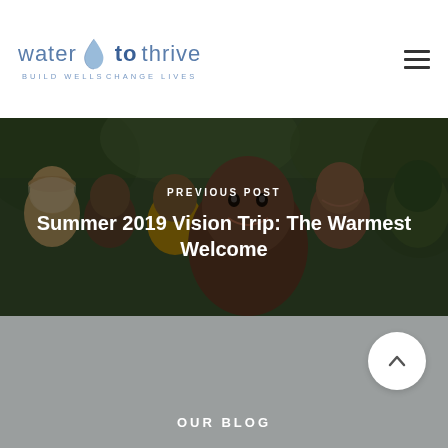[Figure (logo): Water to Thrive logo — blue water drop with text 'water to thrive' and tagline 'BUILD WELLS · CHANGE LIVES']
[Figure (photo): Group of smiling African children in outdoor green setting]
PREVIOUS POST
Summer 2019 Vision Trip: The Warmest Welcome
OUR BLOG